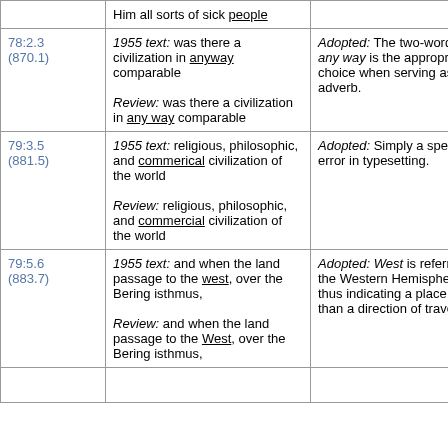| Reference | Text | Note |
| --- | --- | --- |
|  | Him all sorts of sick people |  |
| 78:2.3
(870.1) | 1955 text: was there a civilization in anyway comparable

Review: was there a civilization in any way comparable | Adopted: The two-word form any way is the appropriate choice when serving as an adverb. |
| 79:3.5
(881.5) | 1955 text: religious, philosophic, and commerical civilization of the world

Review: religious, philosophic, and commercial civilization of the world | Adopted: Simply a spelling error in typesetting. |
| 79:5.6
(883.7) | 1955 text: and when the land passage to the west, over the Bering isthmus,

Review: and when the land passage to the West, over the Bering isthmus, | Adopted: West is referring to the Western Hemisphere, thus indicating a place rather than a direction of travel. |
|  |  |  |